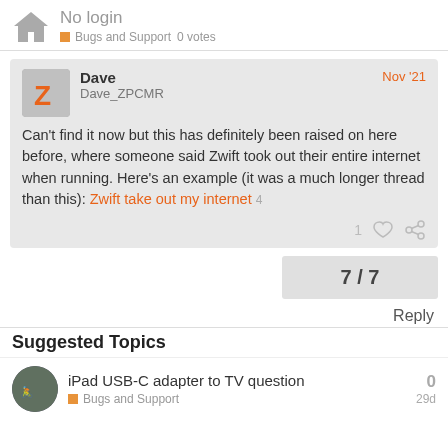No login | Bugs and Support 0 votes
Dave
Dave_ZPCMR
Nov '21
Can't find it now but this has definitely been raised on here before, where someone said Zwift took out their entire internet when running. Here's an example (it was a much longer thread than this): Zwift take out my internet 4
1
7 / 7
Reply
Suggested Topics
iPad USB-C adapter to TV question
Bugs and Support
0
29d